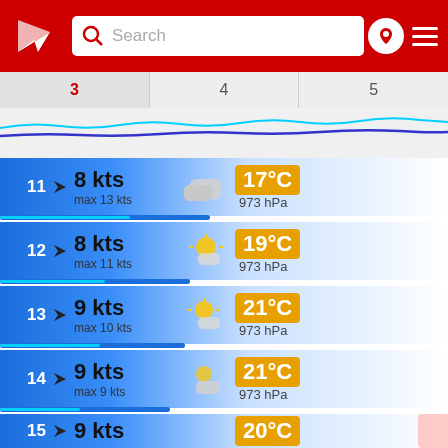[Figure (screenshot): Weather app header with red background, logo, search box, pin button and hamburger menu]
3
4
5
[Figure (continuous-plot): Wind/wave chart with cyan and blue wavy lines]
11  8 kts  max 13 kts  17°C  973 hPa
12  8 kts  max 11 kts  19°C  973 hPa
13  9 kts  max 10 kts  21°C  973 hPa
14  9 kts  max 9 kts  21°C  973 hPa
15  9 kts  max 9 kts  20°C  973 hPa